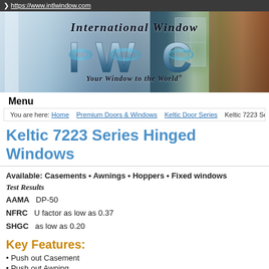https://www.intlwindow.com
[Figure (logo): International Window IWC banner logo with 'Your Window to the World' tagline, featuring large metallic IWC letters on a background of windows and greenery]
Menu
You are here: Home > Premium Doors & Windows > Keltic Door Series > Keltic 7223 Series Hinged Wind...
Keltic 7223 Series Hinged Windows
Available: Casements • Awnings • Hoppers • Fixed windows
Test Results
AAMA  DP-50
NFRC   U factor as low as 0.37
SHGC  as low as 0.20
Key Features:
• Push out Casement
• Push out Awning